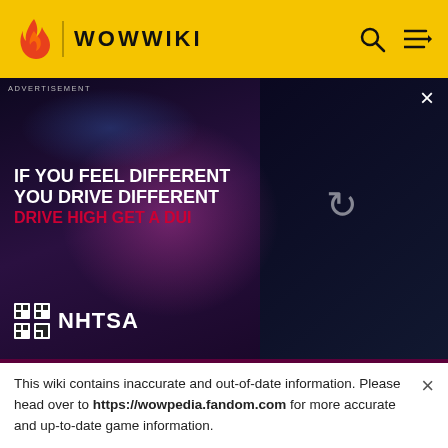WOWWIKI
[Figure (photo): NHTSA advertisement: 'IF YOU FEEL DIFFERENT YOU DRIVE DIFFERENT DRIVE HIGH GET A DUI' with person under colored lighting on dark background]
|  |  |  |  |
| --- | --- | --- | --- |
|  |  |  | Backstab, Mutilate Ambush, Ghostly Strik Lasts 20 sec |
| Malice | None | 5 | Increases yo |
This wiki contains inaccurate and out-of-date information. Please head over to https://wowpedia.fandom.com for more accurate and up-to-date game information.